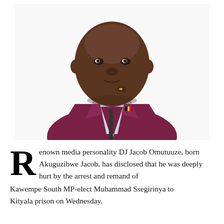[Figure (photo): A man in a dark maroon/burgundy suit jacket with a Ugandan flag pin, hands clasped together near his chin in a thoughtful pose, against a white background. This is DJ Jacob Omutuuze.]
Renown media personality DJ Jacob Omutuuze, born Akuguzibwe Jacob, has disclosed that he was deeply hurt by the arrest and remand of Kawempe South MP-elect Muhammad Ssegirinya to Kityala prison on Wednesday.